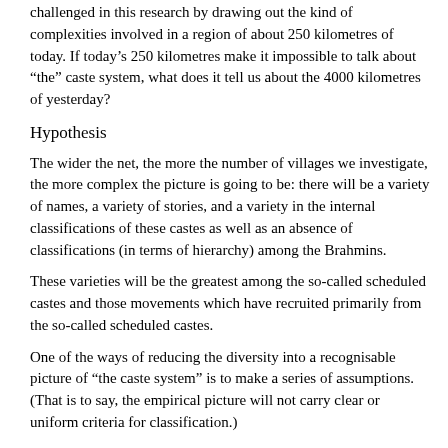challenged in this research by drawing out the kind of complexities involved in a region of about 250 kilometres of today. If todayâs 250 kilometres make it impossible to talk about âtheâ caste system, what does it tell us about the 4000 kilometres of yesterday?
Hypothesis
The wider the net, the more the number of villages we investigate, the more complex the picture is going to be: there will be a variety of names, a variety of stories, and a variety in the internal classifications of these castes as well as an absence of classifications (in terms of hierarchy) among the Brahmins.
These varieties will be the greatest among the so-called scheduled castes and those movements which have recruited primarily from the so-called scheduled castes.
One of the ways of reducing the diversity into a recognisable picture of âthe caste systemâ is to make a series of assumptions. (That is to say, the empirical picture will not carry clear or uniform criteria for classification.)
From this it follows that âthe caste systemâ is not a social structure but some ad hoc scheme of classification. If both